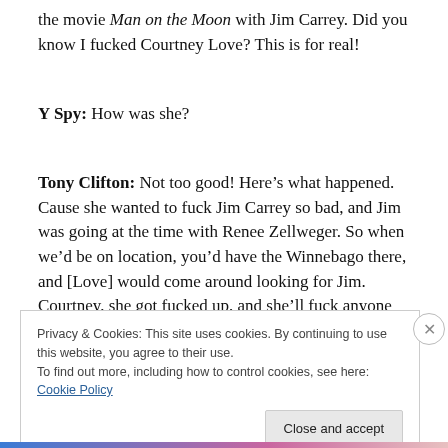the movie Man on the Moon with Jim Carrey.  Did you know I fucked Courtney Love?  This is for real!
Y Spy: How was she?
Tony Clifton: Not too good!  Here's what happened.  Cause she wanted to fuck Jim Carrey so bad, and Jim was going at the time with Renee Zellweger.  So when we'd be on location, you'd have the Winnebago there, and [Love] would come around looking for Jim.  Courtney, she got fucked up, and she'll fuck anyone that moves.
Privacy & Cookies: This site uses cookies. By continuing to use this website, you agree to their use.
To find out more, including how to control cookies, see here: Cookie Policy
Close and accept